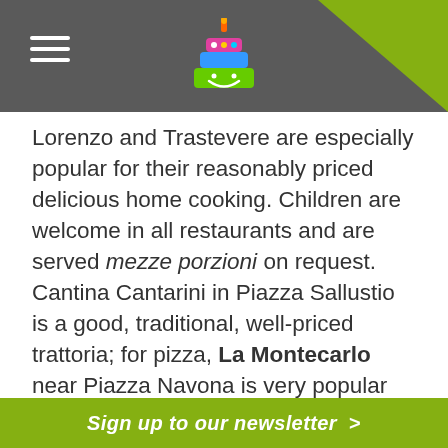Navigation header with hamburger menu, cake logo, and search icon
Lorenzo and Trastevere are especially popular for their reasonably priced delicious home cooking. Children are welcome in all restaurants and are served mezze porzioni on request. Cantina Cantarini in Piazza Sallustio is a good, traditional, well-priced trattoria; for pizza, La Montecarlo near Piazza Navona is very popular with locals.
You might even combine dinner and sightseeing with a meal at Ristorante Da Pancrazio, located above the ruins of the Theatre of Pompey: tuck into classic dishes before paying
Sign up to our newsletter >